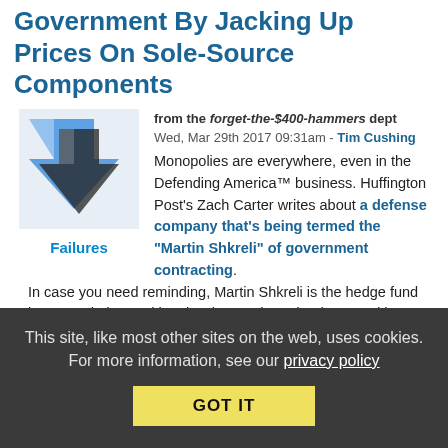Government By Jacking Up Prices On Sole-Source Components
from the forget-the-$400-hammers dept
Wed, Mar 29th 2017 09:31am - Tim Cushing
[Figure (illustration): Blue downward-trending stock chart arrow with dark arrow overlaid, representing market decline]
Failures
Monopolies are everywhere, even in the Defending America™ business. Huffington Post's Zach Carter writes about a defense company that's being termed the "Martin Shkreli" of government contracting. In case you need reminding, Martin Shkreli is the hedge fund bro turned pharma kingpin who purchased a drug used by cancer and AIDS patients and raised its price from $14/pill to $750/pill. After an immense amount of backlash, Shkreli promised to lower the price, reneged on that promise, acquired the Wu Tang Clan's one-copy-only $1 million
This site, like most other sites on the web, uses cookies. For more information, see our privacy policy
GOT IT